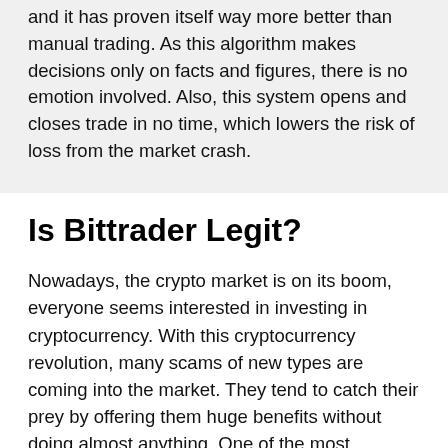and it has proven itself way more better than manual trading. As this algorithm makes decisions only on facts and figures, there is no emotion involved. Also, this system opens and closes trade in no time, which lowers the risk of loss from the market crash.
Is Bittrader Legit?
Nowadays, the crypto market is on its boom, everyone seems interested in investing in cryptocurrency. With this cryptocurrency revolution, many scams of new types are coming into the market. They tend to catch their prey by offering them huge benefits without doing almost anything. One of the most significant scams is automated trading apps. Many apps are offering huge profits overnight. People fall in their prey, and when it comes to withdrawing profits,